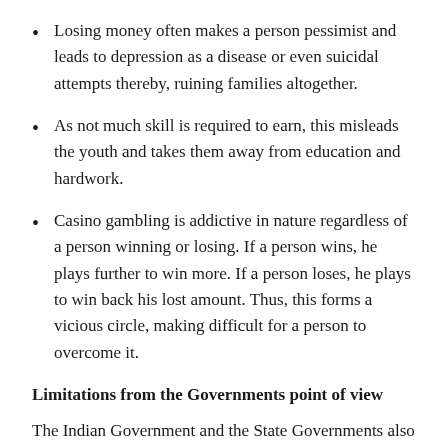Losing money often makes a person pessimist and leads to depression as a disease or even suicidal attempts thereby, ruining families altogether.
As not much skill is required to earn, this misleads the youth and takes them away from education and hardwork.
Casino gambling is addictive in nature regardless of a person winning or losing. If a person wins, he plays further to win more. If a person loses, he plays to win back his lost amount. Thus, this forms a vicious circle, making difficult for a person to overcome it.
Limitations from the Governments point of view
The Indian Government and the State Governments also still holds an orthodox approach when it comes to the legality of casino gambling except a very few states because of the